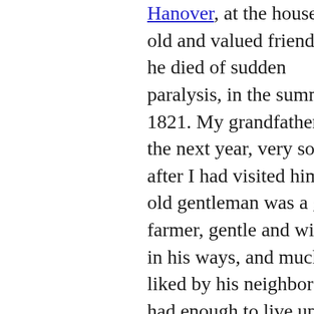Hanover, at the house of an old and valued friend, that he died of sudden paralysis, in the summer of 1821. My grandfather died the next year, very soon after I had visited him. The old gentleman was a good farmer, gentle and winning in his ways, and much liked by his neighbors. He had enough to live upon, but nothing more. In my boyhood, I took great delight in all the farming operations, in